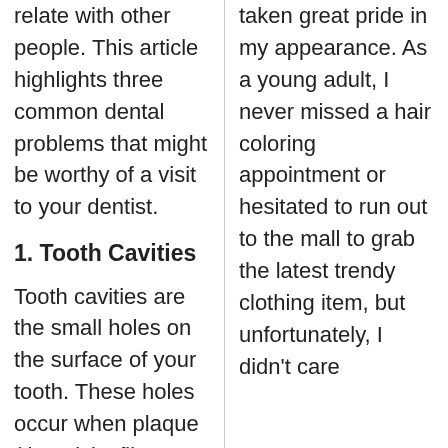relate with other people. This article highlights three common dental problems that might be worthy of a visit to your dentist.
1. Tooth Cavities
Tooth cavities are the small holes on the surface of your tooth. These holes occur when plaque (the sticky film on the surface of your tooth) combines with sugary foods. This reaction produces acid that eats away the protective layer of your tooth, otherwise known as the enamel.
During the early stages, tooth decay does not always cause
taken great pride in my appearance. As a young adult, I never missed a hair coloring appointment or hesitated to run out to the mall to grab the latest trendy clothing item, but unfortunately, I didn't care